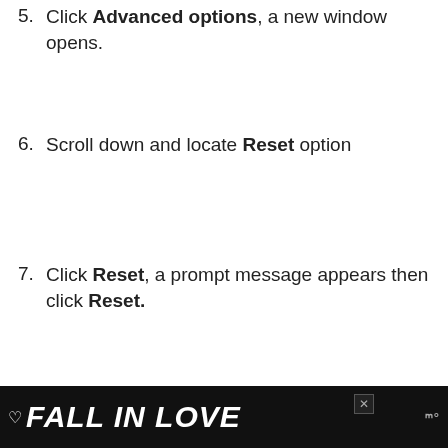5. Click Advanced options, a new window opens.
6. Scroll down and locate Reset option
7. Click Reset, a prompt message appears then click Reset.
[Figure (other): Advertisement placeholder box with 'ADVERTISEMENT' label text]
[Figure (other): Bottom banner advertisement: FALL IN LOVE with dog image and close button, Tidal logo]